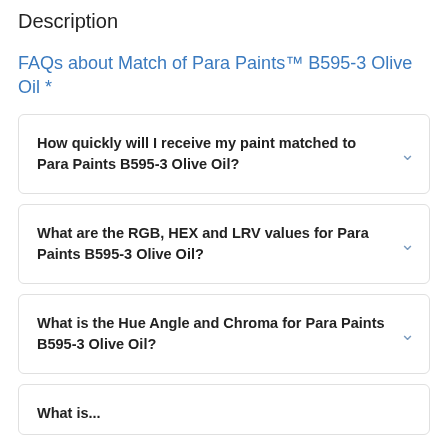Description
FAQs about Match of Para Paints™ B595-3 Olive Oil *
How quickly will I receive my paint matched to Para Paints B595-3 Olive Oil?
What are the RGB, HEX and LRV values for Para Paints B595-3 Olive Oil?
What is the Hue Angle and Chroma for Para Paints B595-3 Olive Oil?
What is...